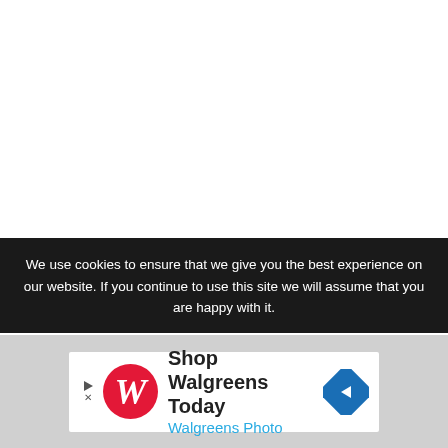View comments
We use cookies to ensure that we give you the best experience on our website. If you continue to use this site we will assume that you are happy with it.
[Figure (other): Walgreens Photo advertisement banner: 'Shop Walgreens Today / Walgreens Photo' with Walgreens W logo and blue navigation arrow icon]